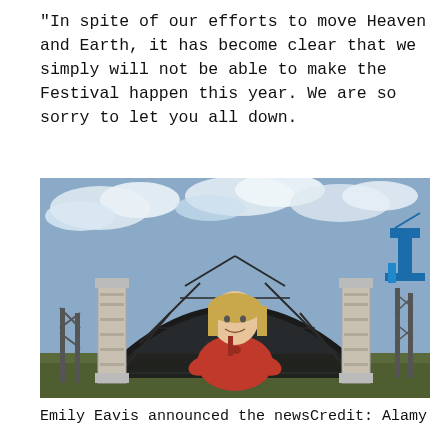“In spite of our efforts to move Heaven and Earth, it has become clear that we simply will not be able to make the Festival happen this year. We are so sorry to let you all down.
[Figure (photo): A woman in a red hoodie smiling in front of a large festival stage structure under construction, with scaffolding, tall concrete pillars, and a blue sky with clouds. A blue crane is visible on the right.]
Emily Eavis announced the newsCredit: Alamy